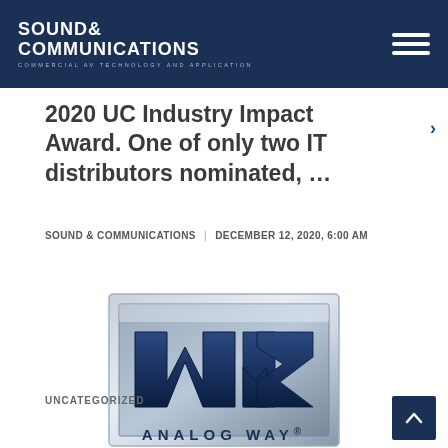SOUND & COMMUNICATIONS — COMMERCIAL AV TECHNOLOGY AND APPLICATION
2020 UC Industry Impact Award. One of only two IT distributors nominated, …
SOUND & COMMUNICATIONS | DECEMBER 12, 2020, 6:00 AM
[Figure (logo): Analog Way logo — a silver square badge with blue stylized 'AW' letters and the text ANALOG WAY below]
UNCATEGORIZED